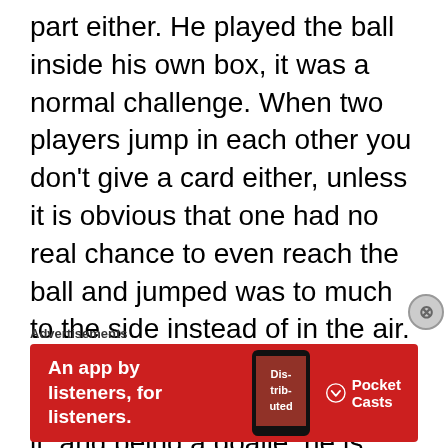part either. He played the ball inside his own box, it was a normal challenge. When two players jump in each other you don't give a card either, unless it is obvious that one had no real chance to even reach the ball and jumped was to much to the side instead of in the air. Neuer played the ball, so he clearly had a chance to reach it, and being a goalie, he is allowed to jump to the side in his own box. Naturally if Neuer hadn't reached the ball, it would be a different matter, but he did. The ball went into the out after
Advertisements
[Figure (other): Red advertisement banner for Pocket Casts app reading 'An app by listeners, for listeners.' with Pocket Casts logo and a phone image showing 'Dis-trib-uted']